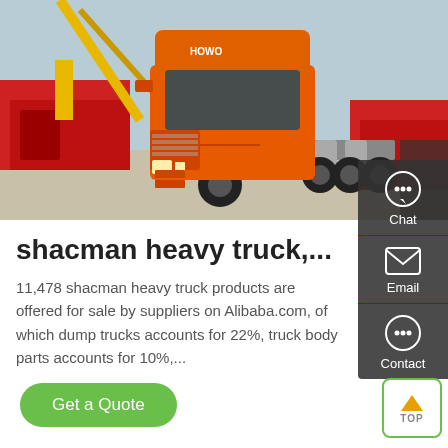[Figure (photo): Orange HOWO heavy truck (tractor unit) parked in a yard, with construction cranes and other red trucks visible in the background.]
shacman heavy truck,...
11,478 shacman heavy truck products are offered for sale by suppliers on Alibaba.com, of which dump trucks accounts for 22%, truck body parts accounts for 10%,...
Get a Quote